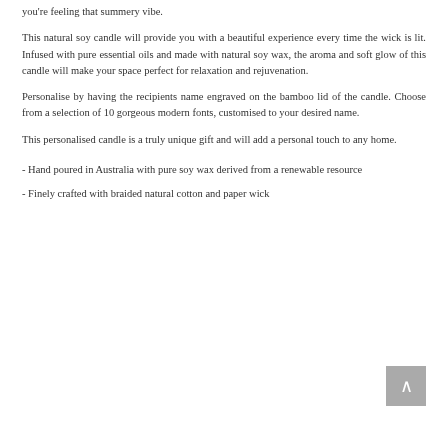you're feeling that summery vibe.
This natural soy candle will provide you with a beautiful experience every time the wick is lit. Infused with pure essential oils and made with natural soy wax, the aroma and soft glow of this candle will make your space perfect for relaxation and rejuvenation.
Personalise by having the recipients name engraved on the bamboo lid of the candle. Choose from a selection of 10 gorgeous modern fonts, customised to your desired name.
This personalised candle is a truly unique gift and will add a personal touch to any home.
- Hand poured in Australia with pure soy wax derived from a renewable resource
- Finely crafted with braided natural cotton and paper wick